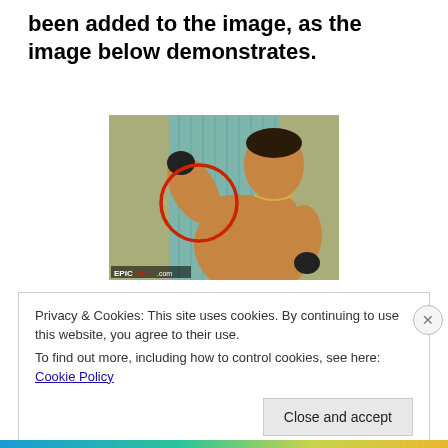been added to the image, as the image below demonstrates.
[Figure (photo): A shirtless muscular man flexing his bicep, with a red circle drawn around the bicep area. A watermark reading 'EPIC FAIL .com' appears at the bottom left of the photo.]
Privacy & Cookies: This site uses cookies. By continuing to use this website, you agree to their use.
To find out more, including how to control cookies, see here: Cookie Policy
Close and accept